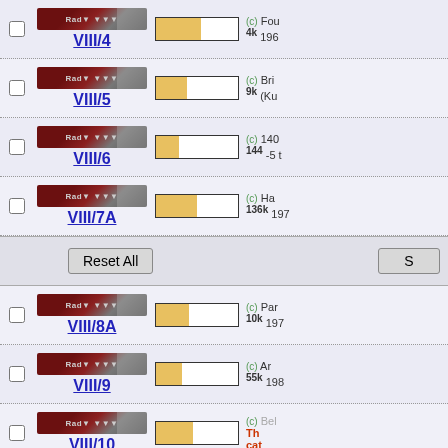VIII/4 - (c) Fou 4k 196...
VIII/5 - (c) Bri 9k (Ku...
VIII/6 - (c) 140 144 -5 t...
VIII/7A - (c) Ha 136k 197...
Reset All / S buttons
VIII/8A - (c) Par 10k 197...
VIII/9 - (c) Ar 55k 198...
VIII/10 - (c) Bel - This cat...
VIII/11 - (c) Be 38k 197...